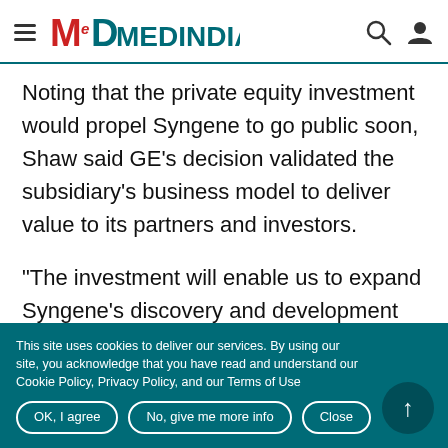MedIndia
Noting that the private equity investment would propel Syngene to go public soon, Shaw said GE's decision validated the subsidiary's business model to deliver value to its partners and investors.
"The investment will enable us to expand Syngene's discovery and development services platform and harness the global
This site uses cookies to deliver our services. By using our site, you acknowledge that you have read and understand our Cookie Policy, Privacy Policy, and our Terms of Use
OK, I agree | No, give me more info | Close